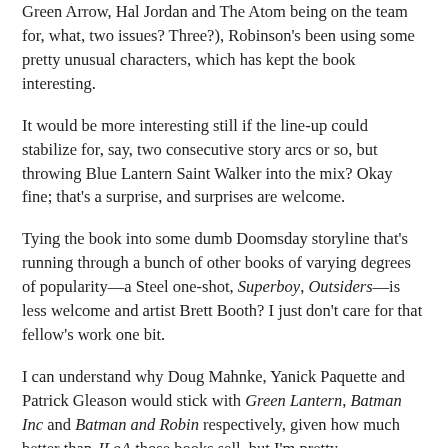Green Arrow, Hal Jordan and The Atom being on the team for, what, two issues? Three?), Robinson's been using some pretty unusual characters, which has kept the book interesting.
It would be more interesting still if the line-up could stabilize for, say, two consecutive story arcs or so, but throwing Blue Lantern Saint Walker into the mix? Okay fine; that's a surprise, and surprises are welcome.
Tying the book into some dumb Doomsday storyline that's running through a bunch of other books of varying degrees of popularity—a Steel one-shot, Superboy, Outsiders—is less welcome and artist Brett Booth? I just don't care for that fellow's work one bit.
I can understand why Doug Mahnke, Yanick Paquette and Patrick Gleason would stick with Green Lantern, Batman Inc and Batman and Robin respectively, given how much better than JLoA those books sell, but I'm pretty disappointed that Booth is getting DC's premier team book.
Where does that leave Batman, Batman Inc and...